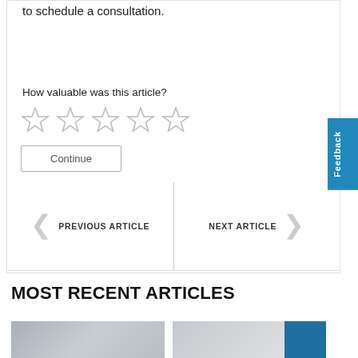to schedule a consultation.
How valuable was this article?
[Figure (other): Five empty star rating icons in a row]
Continue
PREVIOUS ARTICLE
NEXT ARTICLE
Feedback
MOST RECENT ARTICLES
[Figure (photo): Thumbnail image of a woman, partially visible]
[Figure (photo): Partial thumbnail image with blue block on right]